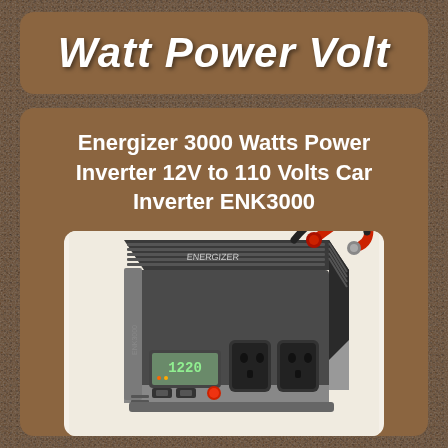Watt Power Volt
Energizer 3000 Watts Power Inverter 12V to 110 Volts Car Inverter ENK3000
[Figure (photo): Photo of the Energizer ENK3000 3000 Watts power inverter, a large black and silver rectangular device with red battery cables on top, LCD display, USB ports, and AC outlets on the front panel]